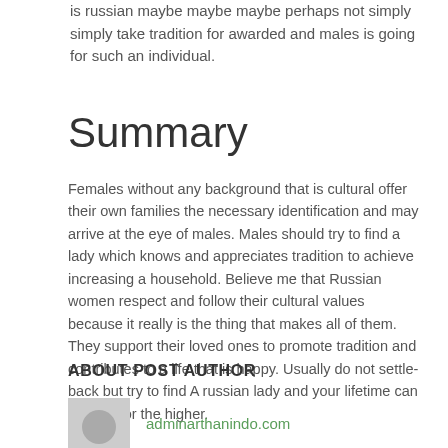is russian maybe maybe maybe perhaps not simply simply take tradition for awarded and males is going for such an individual.
Summary
Females without any background that is cultural offer their own families the necessary identification and may arrive at the eye of males. Males should try to find a lady which knows and appreciates tradition to achieve increasing a household. Believe me that Russian women respect and follow their cultural values because it really is the thing that makes all of them. They support their loved ones to promote tradition and contributes to a life that is happy. Usually do not settle-back but try to find A russian lady and your lifetime can change for the higher.
ABOUT POST AUTHOR
[Figure (illustration): Avatar placeholder image showing a grey box with a circular silhouette icon]
adminarthanindo.com